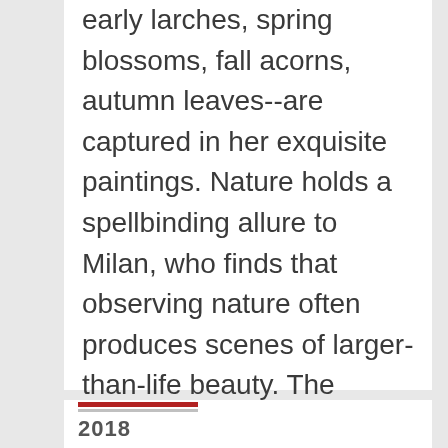early larches, spring blossoms, fall acorns, autumn leaves--are captured in her exquisite paintings. Nature holds a spellbinding allure to Milan, who finds that observing nature often produces scenes of larger-than-life beauty. The Arboretum's exhibition magnifies nature's productions, fully illuminating the elegance of plant life as small as a seed pod. This show captures the wonder of the Arboretum in those larger-than-life...
2018